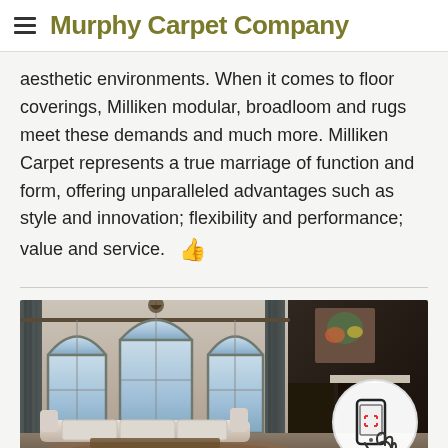Murphy Carpet Company
aesthetic environments. When it comes to floor coverings, Milliken modular, broadloom and rugs meet these demands and much more. Milliken Carpet represents a true marriage of function and form, offering unparalleled advantages such as style and innovation; flexibility and performance; value and service.
[Figure (photo): Interior room with arched windows, elegant curtains, a curved white sofa, and a dark grand piano/fireplace area. Phone scan icon overlay in bottom right.]